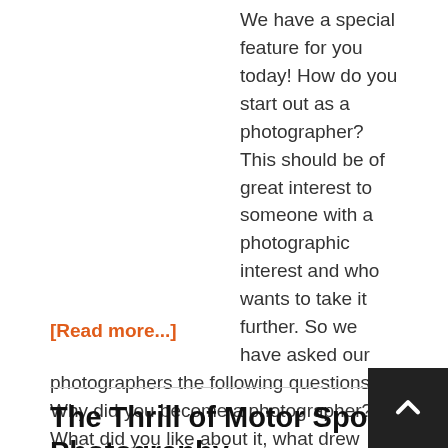We have a special feature for you today! How do you start out as a photographer? This should be of great interest to someone with a photographic interest and who wants to take it further. So we have asked our photographers the following questions: 1) Why did you become a photographer? What did you like about it, what drew you? 2) Is there any one person that had a big ...
[Read more...]
The Thrill of Motor Sport Photography
January 15, 2016 by: Virtual Motorpix | — Leave a Comment